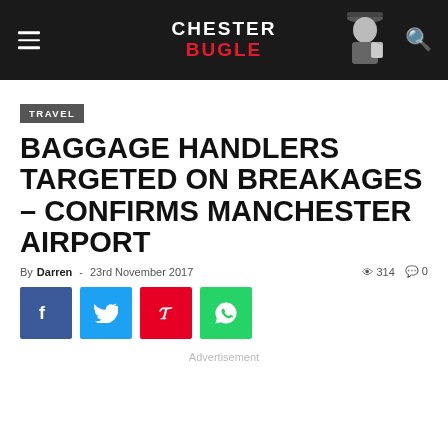Chester Bugle
TRAVEL
BAGGAGE HANDLERS TARGETED ON BREAKAGES – CONFIRMS MANCHESTER AIRPORT
By Darren - 23rd November 2017   314   0
[Figure (infographic): Social share buttons: Facebook, Twitter, Pinterest, WhatsApp]
Advertisement